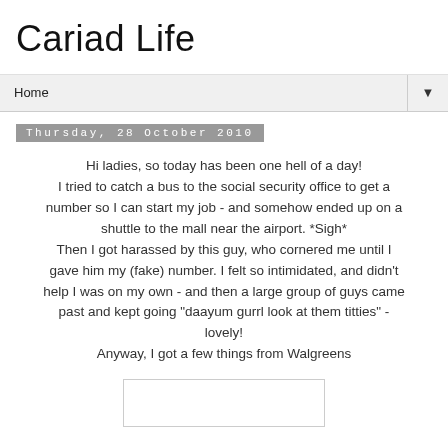Cariad Life
Home
Thursday, 28 October 2010
Hi ladies, so today has been one hell of a day! I tried to catch a bus to the social security office to get a number so I can start my job - and somehow ended up on a shuttle to the mall near the airport. *Sigh* Then I got harassed by this guy, who cornered me until I gave him my (fake) number. I felt so intimidated, and didn't help I was on my own - and then a large group of guys came past and kept going "daayum gurrl look at them titties" - lovely! Anyway, I got a few things from Walgreens
[Figure (other): White rectangle image placeholder at the bottom of the page]